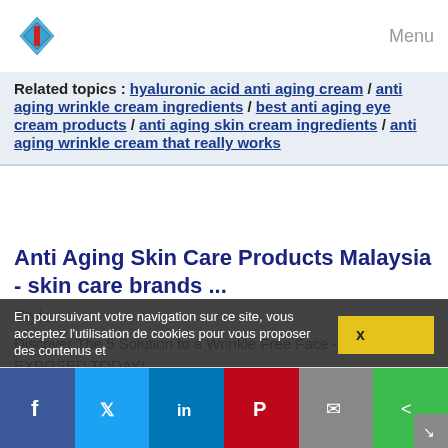Menu
Related topics : hyaluronic acid anti aging cream / anti aging wrinkle cream ingredients / best anti aging eye cream products / anti aging skin cream ingredients / anti aging wrinkle cream that really works
Anti Aging Skin Care Products Malaysia - skin care brands ...
Style
Discover The 5 Solution to a Wrinkle Free Face - ALL EXPOSED TODAY!
Various sources across the internet have exposed a HUGE celebrity secret to erase wrinkles - without botox or surgery!
How do Hollywood starlets look so radiant and youthful well into thier 40's, 50's, and even 60's? Is it always expensive botox and dangerous plastic surgery? According to various sources, the answer is...
En poursuivant votre navigation sur ce site, vous acceptez l'utilisation de cookies pour vous proposer des contenus et
Facebook Twitter LinkedIn Pinterest Email Share